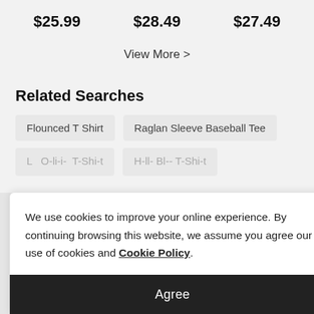$25.99   $28.49   $27.49
View More >
Related Searches
Flounced T Shirt
Raglan Sleeve Baseball Tee
We use cookies to improve your online experience. By continuing browsing this website, we assume you agree our use of cookies and Cookie Policy.
Agree